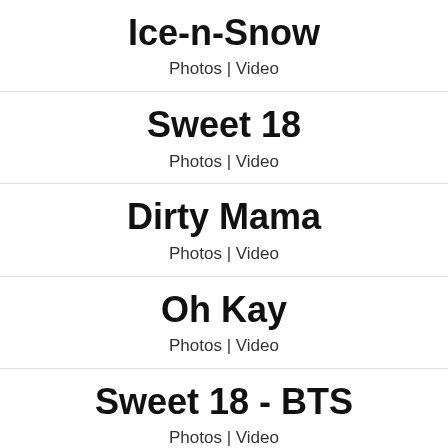Ice-n-Snow
Photos | Video
Sweet 18
Photos | Video
Dirty Mama
Photos | Video
Oh Kay
Photos | Video
Sweet 18 - BTS
Photos | Video
Fuck My Face